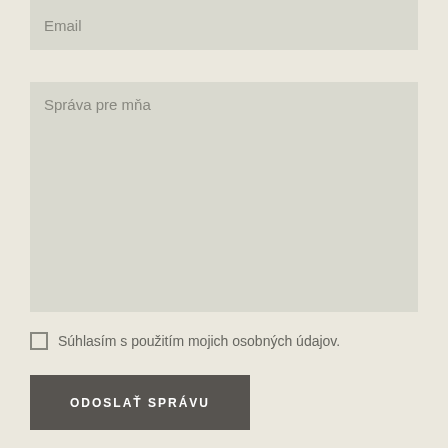Email
Správa pre mňa
Súhlasím s použitím mojich osobných údajov.
ODOSLAŤ SPRÁVU